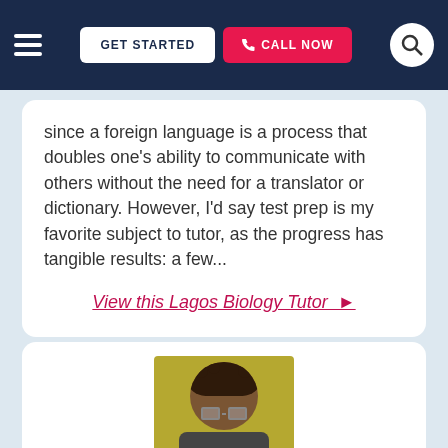GET STARTED | CALL NOW
since a foreign language is a process that doubles one's ability to communicate with others without the need for a translator or dictionary. However, I'd say test prep is my favorite subject to tutor, as the progress has tangible results: a few...
View this Lagos Biology Tutor ▶
[Figure (photo): Portrait photo of a tutor with curly dark hair and glasses against a yellow-green background]